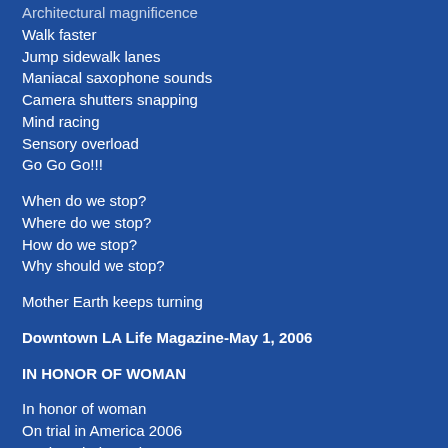Architectural magnificence
Walk faster
Jump sidewalk lanes
Maniacal saxophone sounds
Camera shutters snapping
Mind racing
Sensory overload
Go Go Go!!!
When do we stop?
Where do we stop?
How do we stop?
Why should we stop?
Mother Earth keeps turning
Downtown LA Life Magazine-May 1, 2006
IN HONOR OF WOMAN
In honor of woman
On trial in America 2006
For her choice to be